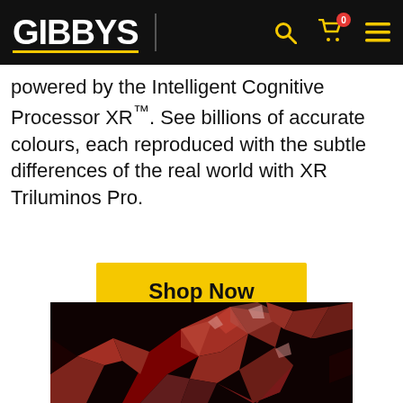GIBBYS
powered by the Intelligent Cognitive Processor XR™. See billions of accurate colours, each reproduced with the subtle differences of the real world with XR Triluminos Pro.
Shop Now
[Figure (photo): Close-up photo of red/crimson crystal minerals against a dark background]